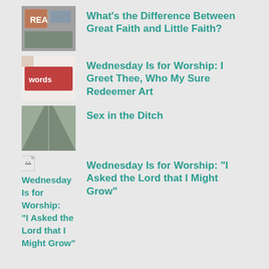What's the Difference Between Great Faith and Little Faith?
Wednesday Is for Worship: I Greet Thee, Who My Sure Redeemer Art
Sex in the Ditch
Wednesday Is for Worship: "I Asked the Lord that I Might Grow"